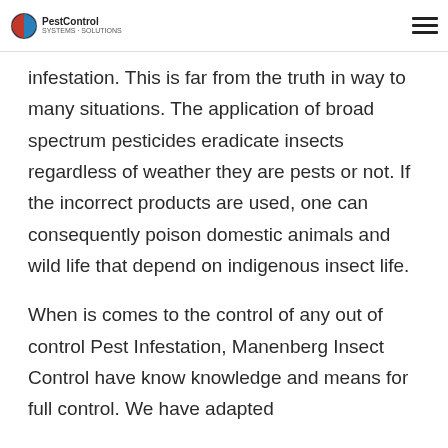PestControl
infestation. This is far from the truth in way to many situations. The application of broad spectrum pesticides eradicate insects regardless of weather they are pests or not. If the incorrect products are used, one can consequently poison domestic animals and wild life that depend on indigenous insect life.
When is comes to the control of any out of control Pest Infestation, Manenberg Insect Control have know knowledge and means for full control. We have adapted